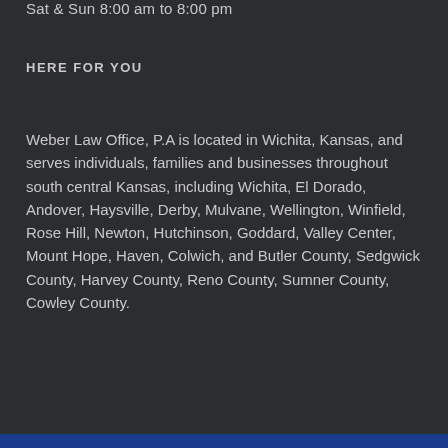Sat & Sun 8:00 am to 8:00 pm
HERE FOR YOU
Weber Law Office, P.A is located in Wichita, Kansas, and serves individuals, families and businesses throughout south central Kansas, including Wichita, El Dorado, Andover, Haysville, Derby, Mulvane, Wellington, Winfield, Rose Hill, Newton, Hutchinson, Goddard, Valley Center, Mount Hope, Haven, Colwich, and Butler County, Sedgwick County, Harvey County, Reno County, Sumner County, Cowley County.